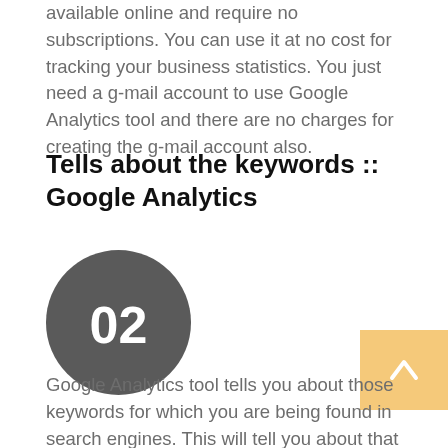available online and require no subscriptions. You can use it at no cost for tracking your business statistics. You just need a g-mail account to use Google Analytics tool and there are no charges for creating the g-mail account also.
Tells about the keywords :: Google Analytics
[Figure (other): Dark grey circle badge with white text '02' indicating step number 2]
Google Analytics tool tells you about those keywords for which you are being found in search engines. This will tell you about that which keywords are performing well, on the basis of which you can further modify your search engine optimization techniques for your